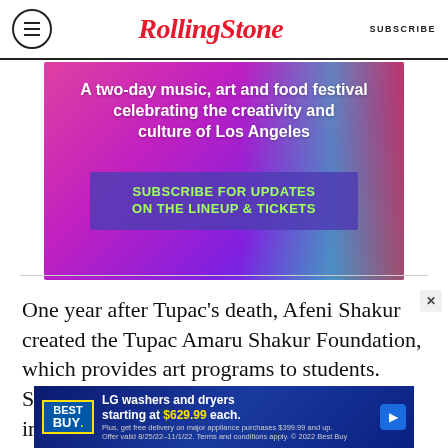RollingStone  SUBSCRIBE
[Figure (infographic): Advertisement banner: purple/magenta gradient background with colorful brushstroke art overlay. Text: 'A two-day music, art and food festival celebrating the creativity and culture of Los Angeles' with a purple button 'SUBSCRIBE FOR UPDATES ON THE LINEUP & TICKETS']
One year after Tupac’s death, Afeni Shakur created the Tupac Amaru Shakur Foundation, which provides art programs to students. Shakur also oversaw her son’s estate, including his voluminous posthumous releases. In 1999, she
[Figure (infographic): Best Buy advertisement banner at bottom: blue background, Best Buy logo, 'LG washers and dryers starting at $629.99 each. Plus, get free delivery on major appliance purchases $399.99 and up. Offer valid 8/25/22-11/1/22. Terms and conditions apply. © 2022 Best Buy']